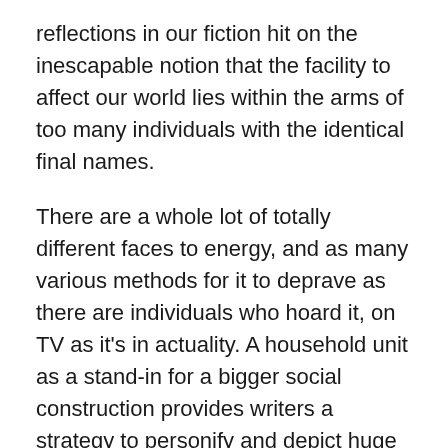reflections in our fiction hit on the inescapable notion that the facility to affect our world lies within the arms of too many individuals with the identical final names.
There are a whole lot of totally different faces to energy, and as many various methods for it to deprave as there are individuals who hoard it, on TV as it’s in actuality. A household unit as a stand-in for a bigger social construction provides writers a strategy to personify and depict huge systemic points via the guise of interpersonal struggles. How so many collection deal with this truth, and the way they see these dynastic households crumbling or someway surviving regardless of all of it, informs how we would view our nation’s seemingly inevitable and long-forestalled decline.